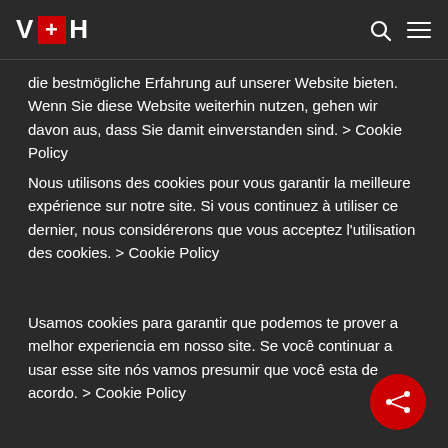V+H [logo with search and menu icons]
die bestmögliche Erfahrung auf unserer Website bieten. Wenn Sie diese Website weiterhin nutzen, gehen wir davon aus, dass Sie damit einverstanden sind. > Cookie Policy
Nous utilisons des cookies pour vous garantir la meilleure expérience sur notre site. Si vous continuez à utiliser ce dernier, nous considérerons que vous acceptez l'utilisation des cookies. > Cookie Policy
Usamos cookies para garantir que podemos te prover a melhor experiencia em nosso site. Se você continuar a usar esse site nós vamos presumir que você esta de acordo. > Cookie Policy